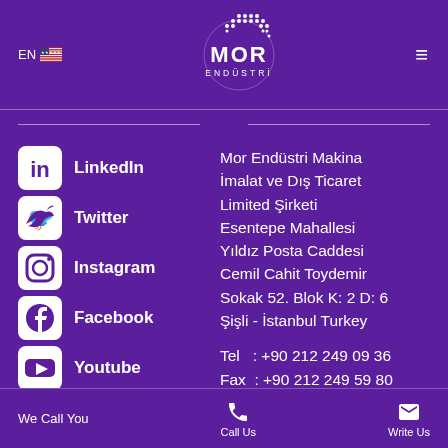EN | MOR ENDÜSTRİ logo | hamburger menu
LinkedIn
Twitter
Instagram
Facebook
Youtube
Mor Endüstri Makina İmalat ve Dış Ticaret Limited Şirketi Esentepe Mahallesi Yıldız Posta Caddesi Cemil Cahit Toydemir Sokak 52. Blok K: 2 D: 6 Şişli - İstanbul Turkey
Tel   : +90 212 249 09 36
Fax  : +90 212 249 59 80
We Call You | Call Us | Write Us